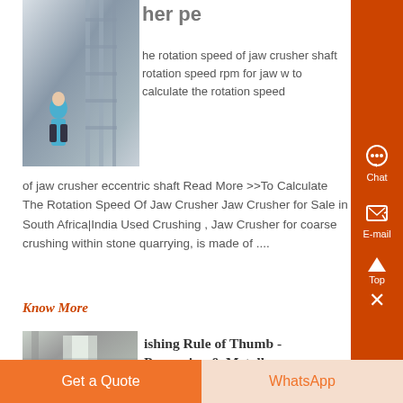[Figure (photo): Photo of industrial/manufacturing facility with a person in a blue shirt standing near tall metal equipment/shelving]
her pe
he rotation speed of jaw crusher shaft rotation speed rpm for jaw w to calculate the rotation speed of jaw crusher eccentric shaft Read More >>To Calculate The Rotation Speed Of Jaw Crusher Jaw Crusher for Sale in South Africa|India Used Crushing , Jaw Crusher for coarse crushing within stone quarrying, is made of ....
Know More
[Figure (photo): Photo of industrial facility interior with light coming through windows]
ishing Rule of Thumb - Processing & Metallurgy
Get a Quote
WhatsApp